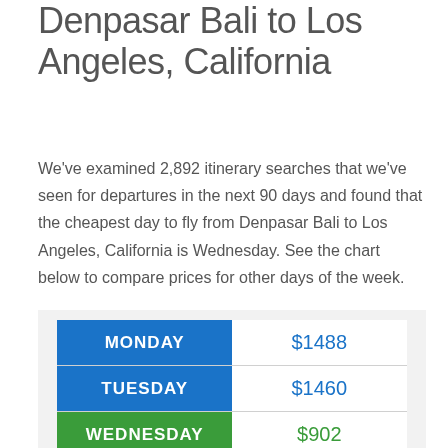Denpasar Bali to Los Angeles, California
We've examined 2,892 itinerary searches that we've seen for departures in the next 90 days and found that the cheapest day to fly from Denpasar Bali to Los Angeles, California is Wednesday. See the chart below to compare prices for other days of the week.
| Day | Price |
| --- | --- |
| MONDAY | $1488 |
| TUESDAY | $1460 |
| WEDNESDAY | $902 |